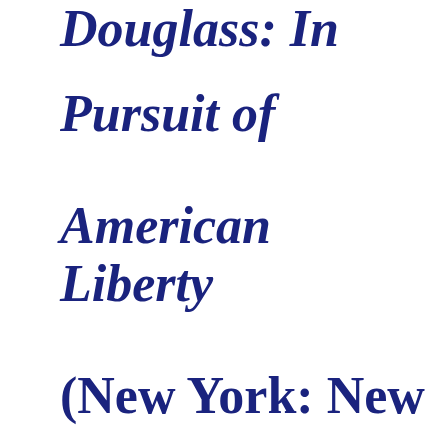Douglass: In Pursuit of American Liberty (New York: New York University